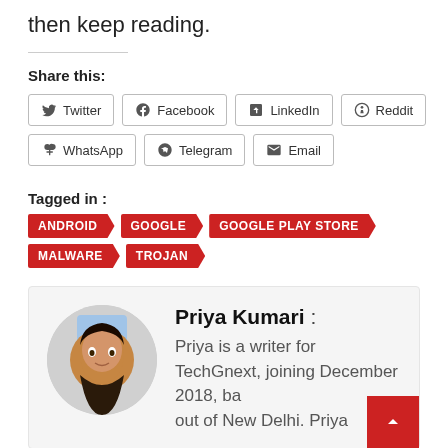then keep reading.
Share this:
Twitter | Facebook | LinkedIn | Reddit | WhatsApp | Telegram | Email
Tagged in : ANDROID  GOOGLE  GOOGLE PLAY STORE  MALWARE  TROJAN
[Figure (photo): Author bio box with circular photo of Priya Kumari and text: Priya Kumari: Priya is a writer for TechGnext, joining December 2018, ba out of New Delhi. Priya]